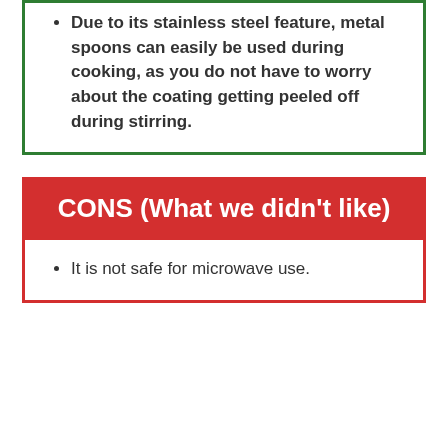Due to its stainless steel feature, metal spoons can easily be used during cooking, as you do not have to worry about the coating getting peeled off during stirring.
CONS (What we didn't like)
It is not safe for microwave use.